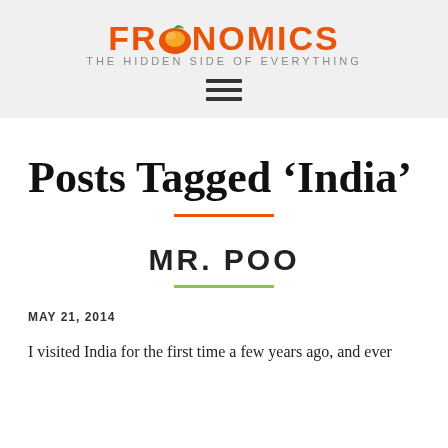FREAKONOMICS — THE HIDDEN SIDE OF EVERYTHING
Posts Tagged ‘India’
MR. POO
MAY 21, 2014
I visited India for the first time a few years ago, and ever